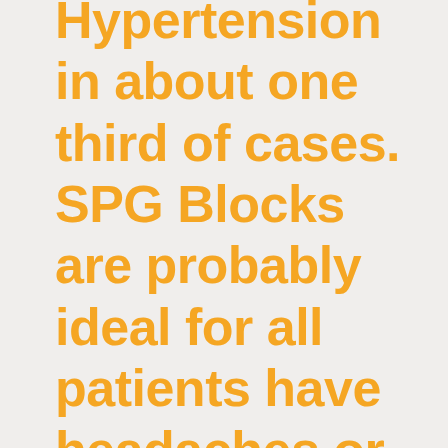Hypertension in about one third of cases.  SPG Blocks are probably ideal for all patients have headaches or migraines associated with